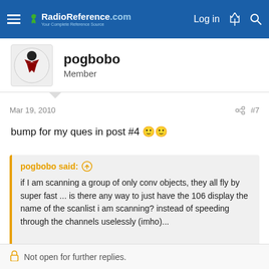RadioReference.com — Log in
pogbobo
Member
Mar 19, 2010   #7
bump for my ques in post #4 🙂🙂
pogbobo said: ↑

if I am scanning a group of only conv objects, they all fly by super fast ... is there any way to just have the 106 display the name of the scanlist i am scanning? instead of speeding through the channels uselessly (imho)...

thanks!
🔒 Not open for further replies.